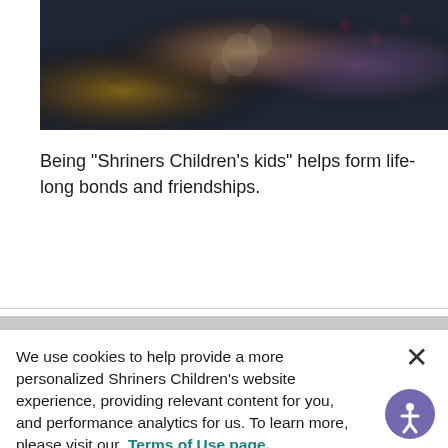[Figure (photo): Partial photo showing people wearing patterned clothing including animal print scarf, floral blue dress, and diamond-pattern fabric]
Being "Shriners Children's kids" helps form life-long bonds and friendships.
We use cookies to help provide a more personalized Shriners Children's website experience, providing relevant content for you, and performance analytics for us. To learn more, please visit our Terms of Use page.